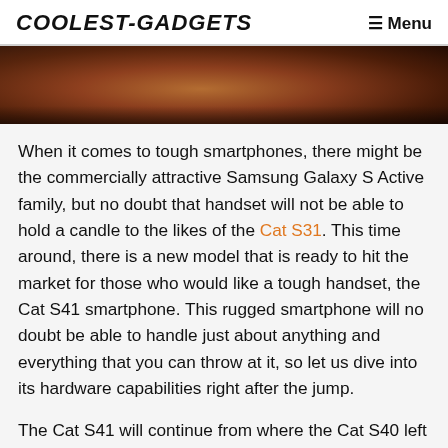COOLEST-GADGETS  ☰ Menu
[Figure (photo): Close-up photo of a rugged smartphone, brownish-reddish tones, rocky/earthy background]
When it comes to tough smartphones, there might be the commercially attractive Samsung Galaxy S Active family, but no doubt that handset will not be able to hold a candle to the likes of the Cat S31. This time around, there is a new model that is ready to hit the market for those who would like a tough handset, the Cat S41 smartphone. This rugged smartphone will no doubt be able to handle just about anything and everything that you can throw at it, so let us dive into its hardware capabilities right after the jump.
The Cat S41 will continue from where the Cat S40 left off, and it will also hold the Cat will...